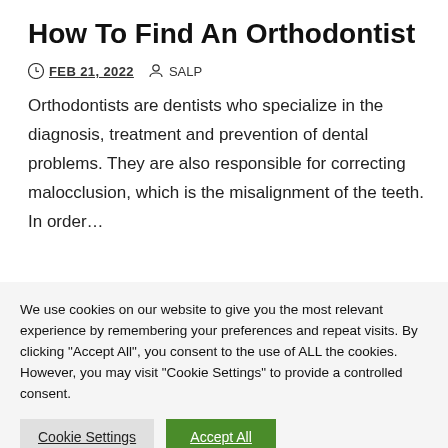How To Find An Orthodontist
FEB 21, 2022   SALP
Orthodontists are dentists who specialize in the diagnosis, treatment and prevention of dental problems. They are also responsible for correcting malocclusion, which is the misalignment of the teeth. In order…
We use cookies on our website to give you the most relevant experience by remembering your preferences and repeat visits. By clicking "Accept All", you consent to the use of ALL the cookies. However, you may visit "Cookie Settings" to provide a controlled consent.